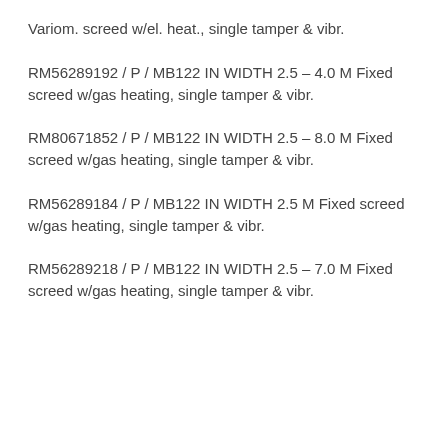Variom. screed w/el. heat., single tamper & vibr.
RM56289192 / P / MB122 IN WIDTH 2.5 – 4.0 M Fixed screed w/gas heating, single tamper & vibr.
RM80671852 / P / MB122 IN WIDTH 2.5 – 8.0 M Fixed screed w/gas heating, single tamper & vibr.
RM56289184 / P / MB122 IN WIDTH 2.5 M Fixed screed w/gas heating, single tamper & vibr.
RM56289218 / P / MB122 IN WIDTH 2.5 – 7.0 M Fixed screed w/gas heating, single tamper & vibr.